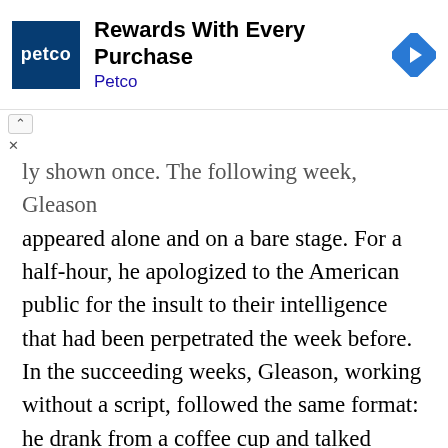[Figure (infographic): Petco advertisement banner with blue square logo, text 'Rewards With Every Purchase' and 'Petco', and a blue diamond navigation arrow icon on the right]
ly shown once. The following week, Gleason appeared alone and on a bare stage. For a half-hour, he apologized to the American public for the insult to their intelligence that had been perpetrated the week before. In the succeeding weeks, Gleason, working without a script, followed the same format: he drank from a coffee cup and talked directly to the home audience. Later on, he had informal interviews with such guests as Art Carney, Mickey Rooney, Bobby Darin, Jayne Mansfield, and when things started getting desperate, a chimp.